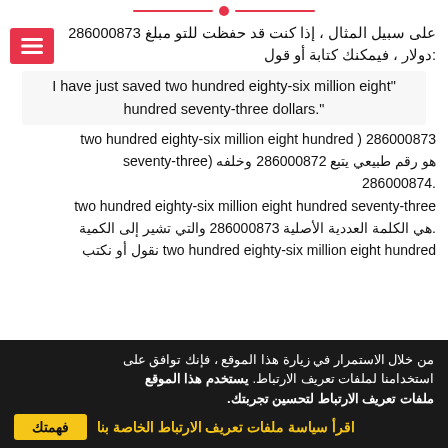على سبيل المثال ، إذا كنت قد حفظت للتو مبلغ 286000873 دولار ، فيمكنك كتابة أو قول:
"I have just saved two hundred eighty-six million eight hundred seventy-three dollars".
286000873 ( two hundred eighty-six million eight hundred seventy-three) هو رقم طبيعي يتبع 286000872 وخلفه 286000874.
two hundred eighty-six million eight hundred seventy-three هي الكلمة العددية الأصلية 286000873 والتي تشير إلى الكمية. نقول أو نكتب two hundred eighty-six million eight hundred
من خلال الاستمرار في زيارة هذا الموقع ، فإنك توافق على استخدامنا لملفات تعريف الارتباط. يستخدم هذا الموقع ملفات تعريف الارتباط لتحسين تجربتك.
اقرأ سياسة ملفات تعريف الارتباط الخاصة بنا
فهمتك